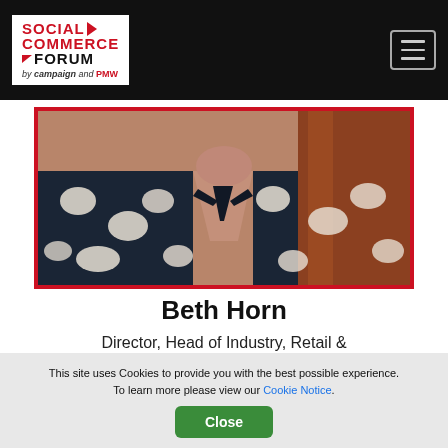Social Commerce Forum — by campaign and PMW
[Figure (photo): Close-up photo of Beth Horn wearing a dark navy dress with white floral pattern, long red/brown hair, red border frame around image]
Beth Horn
Director, Head of Industry, Retail & Ecommerce , META
This site uses Cookies to provide you with the best possible experience. To learn more please view our Cookie Notice.